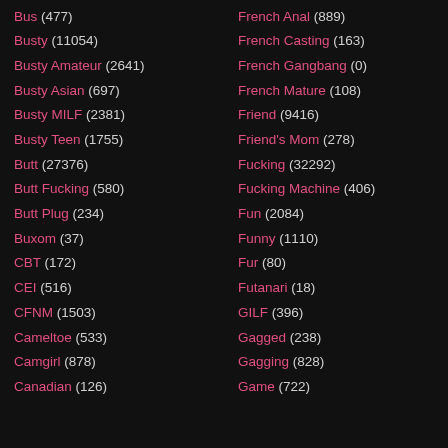Bus (477)
Busty (11054)
Busty Amateur (2641)
Busty Asian (697)
Busty MILF (2381)
Busty Teen (1755)
Butt (27376)
Butt Fucking (580)
Butt Plug (234)
Buxom (37)
CBT (172)
CEI (516)
CFNM (1503)
Cameltoe (533)
Camgirl (878)
Canadian (126)
French Anal (889)
French Casting (163)
French Gangbang (0)
French Mature (108)
Friend (9416)
Friend's Mom (278)
Fucking (32292)
Fucking Machine (406)
Fun (2084)
Funny (1110)
Fur (80)
Futanari (18)
GILF (396)
Gagged (238)
Gagging (828)
Game (722)